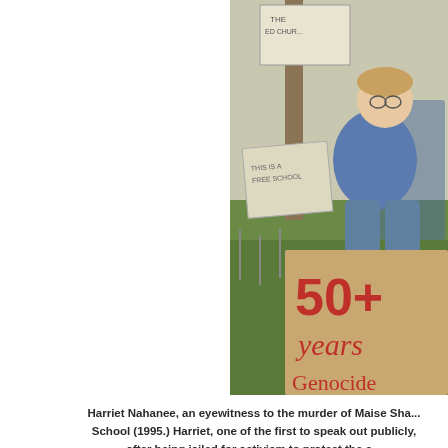[Figure (photo): A child sitting outdoors on grass holding a cardboard protest sign reading '50+ years Genocide'. Other handwritten signs are visible in the background including one reading 'This is a free school' and another partially visible sign. The child is wearing a blue jacket.]
Harriet Nahanee, an eyewitness to the murder of Maise Sha... School (1995.) Harriet, one of the first to speak out publicly, ... after being jailed for activism to protect the e...